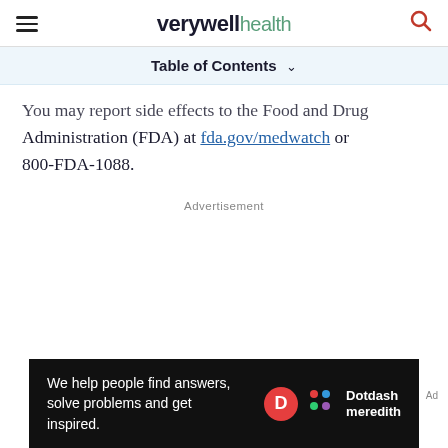verywell health
Table of Contents
You may report side effects to the Food and Drug Administration (FDA) at fda.gov/medwatch or 800-FDA-1088.
Advertisement
[Figure (other): Dotdash Meredith advertisement banner: 'We help people find answers, solve problems and get inspired.' with Dotdash Meredith logo]